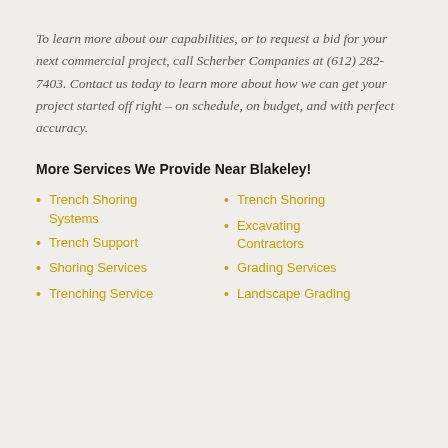To learn more about our capabilities, or to request a bid for your next commercial project, call Scherber Companies at (612) 282-7403. Contact us today to learn more about how we can get your project started off right – on schedule, on budget, and with perfect accuracy.
More Services We Provide Near Blakeley!
Trench Shoring Systems
Trench Support
Shoring Services
Trenching Service
Trench Shoring
Excavating Contractors
Grading Services
Landscape Grading